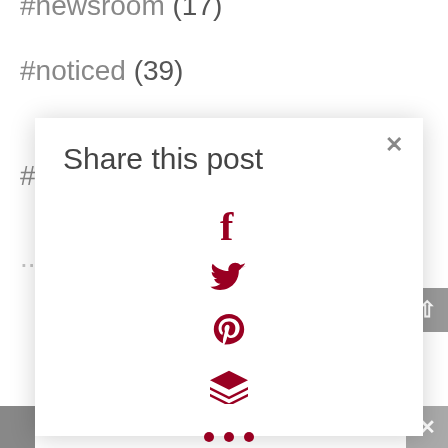#newsroom (17)
#noticed (39)
#protips (19)
Share this post
[Figure (infographic): Social share modal with icons for Facebook (f), Twitter (bird), Pinterest (P), Buffer (layers), and more options (three dots), all in dark red/crimson color, with a close (x) button in the top-right corner.]